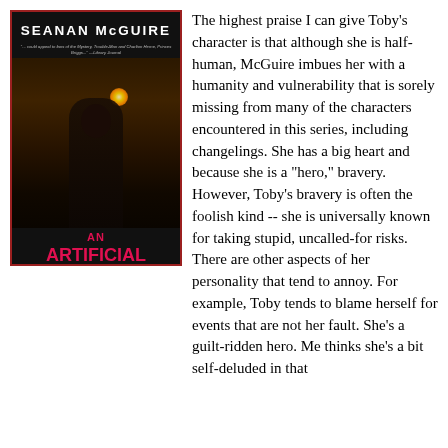[Figure (photo): Book cover of 'An Artificial Night' by Seanan McGuire. Dark background with a woman holding a candle, pink/red stylized title text at the bottom. Red border around the cover image.]
The highest praise I can give Toby's character is that although she is half-human, McGuire imbues her with a humanity and vulnerability that is sorely missing from many of the characters encountered in this series, including changelings. She has a big heart and because she is a "hero," bravery. However, Toby's bravery is often the foolish kind -- she is universally known for taking stupid, uncalled-for risks. There are other aspects of her personality that tend to annoy. For example, Toby tends to blame herself for events that are not her fault. She's a guilt-ridden hero. Me thinks she's a bit self-deluded in that